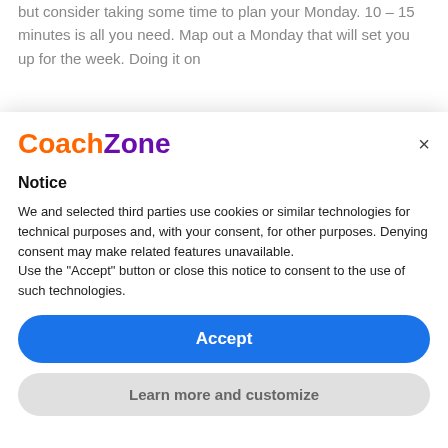but consider taking some time to plan your Monday. 10 – 15 minutes is all you need. Map out a Monday that will set you up for the week. Doing it on
[Figure (screenshot): CoachZone website cookie consent modal dialog with logo, Notice heading, cookie policy text, Accept button, and Learn more and customize button]
CoachZone
Notice
We and selected third parties use cookies or similar technologies for technical purposes and, with your consent, for other purposes. Denying consent may make related features unavailable. Use the "Accept" button or close this notice to consent to the use of such technologies.
Accept
Learn more and customize